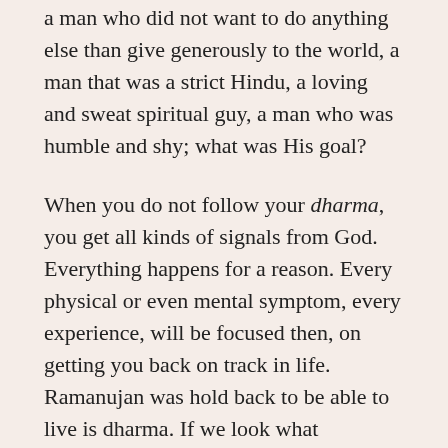a man who did not want to do anything else than give generously to the world, a man that was a strict Hindu, a loving and sweat spiritual guy, a man who was humble and shy; what was His goal?
When you do not follow your dharma, you get all kinds of signals from God. Everything happens for a reason. Every physical or even mental symptom, every experience, will be focused then, on getting you back on track in life. Ramanujan was hold back to be able to live is dharma. If we look what happened to him; he died of tuberculosis. Analyzing what this type of disease wants to tell us; ‘feeling deeply desperate’ can teach us more.
Ramanujan was frustrated and sad because the